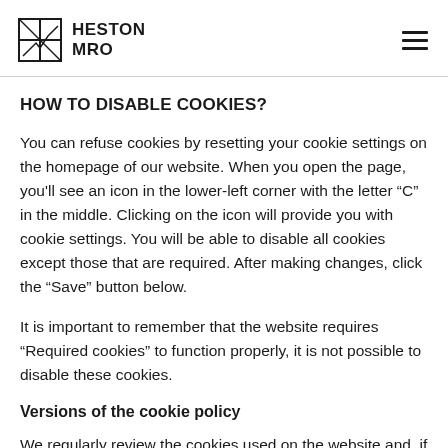HESTON MRO
HOW TO DISABLE COOKIES?
You can refuse cookies by resetting your cookie settings on the homepage of our website. When you open the page, you'll see an icon in the lower-left corner with the letter “C” in the middle. Clicking on the icon will provide you with cookie settings. You will be able to disable all cookies except those that are required. After making changes, click the “Save” button below.
It is important to remember that the website requires “Required cookies” to function properly, it is not possible to disable these cookies.
Versions of the cookie policy
We regularly review the cookies used on the website and, if